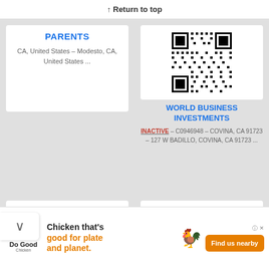↑ Return to top
PARENTS
CA, United States – Modesto, CA, United States ...
[Figure (other): QR code for World Business Investments listing]
WORLD BUSINESS INVESTMENTS
INACTIVE – C0946948 – COVINA, CA 91723 – 127 W BADILLO, COVINA, CA 91723 ...
[Figure (other): QR code bottom left]
[Figure (other): QR code bottom right]
[Figure (other): Advertisement banner: Do Good Chicken – Chicken that's good for plate and planet. Find us nearby.]